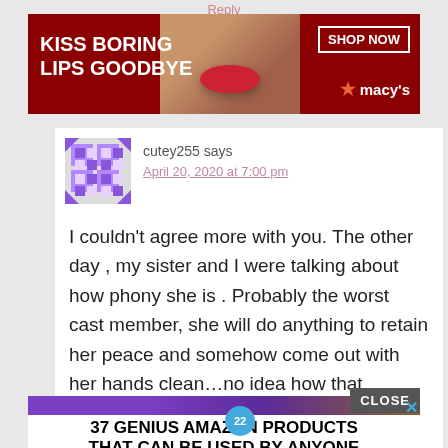Reply
[Figure (photo): Macy's advertisement banner: 'KISS BORING LIPS GOODBYE' with SHOP NOW button and red lips beauty image]
cutey255 says
April 20, 2020 at 7:00 pm
I couldn't agree more with you. The other day , my sister and I were talking about how phony she is . Probably the worst cast member, she will do anything to retain her peace and somehow come out with her hands clean…no idea how that happens every season. Watching all the seasons back, made me
[Figure (photo): Bottom advertisement: '37 GENIUS AMAZON PRODUCTS THAT CAN BE USED BY ANYONE' with purple headphones image and 22 badge, with CLOSE button overlay]